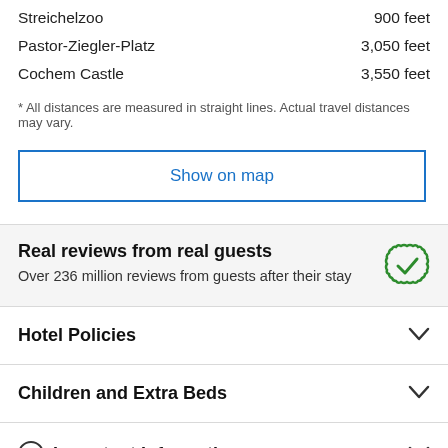Streichelzoo — 900 feet
Pastor-Ziegler-Platz — 3,050 feet
Cochem Castle — 3,550 feet
* All distances are measured in straight lines. Actual travel distances may vary.
Show on map
Real reviews from real guests
Over 236 million reviews from guests after their stay
Hotel Policies
Children and Extra Beds
Important Information